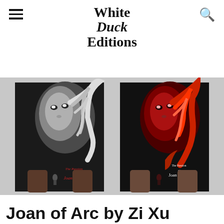White Duck Editions
[Figure (photo): Two people holding movie posters for 'The Passion of Joan of Arc' — one in black and white on the left, one in red tones on the right — against a grey background.]
Joan of Arc by Zi Xu